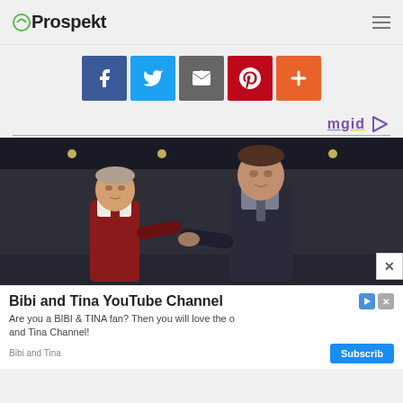Prospekt
[Figure (infographic): Row of social share buttons: Facebook (blue), Twitter (light blue), Email (dark gray), Pinterest (red), and plus/share (orange-red)]
[Figure (logo): mgid logo with triangle play icon, blue underline on 'm', yellow underline on 'gid']
[Figure (photo): Two men in an indoor setting (appears to be an airport or hotel lobby), one older man in a red vest and one taller man in a dark suit, shaking hands or exchanging something]
[Figure (infographic): Advertisement banner: 'Bibi and Tina YouTube Channel' with text 'Are you a BIBI & TINA fan? Then you will love the o and Tina Channel!' Source: Bibi and Tina, Subscribe button]